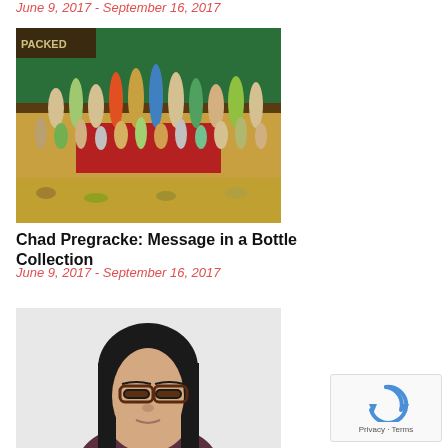June 9, 2017 - September 16, 2017
[Figure (photo): Collection of small figurines and bottles arranged on a display, with green background and colorful figurines including red, blue, green, and natural-colored pieces]
Chad Pregracke: Message in a Bottle Collection
June 9, 2017 - September 16, 2017
[Figure (photo): Portrait photo of an Asian woman with dark hair and glasses, wearing a dark top, against a light background]
[Figure (other): reCAPTCHA widget with Privacy and Terms text]